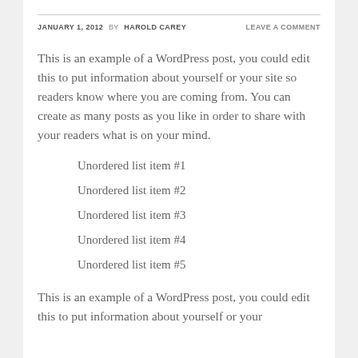JANUARY 1, 2012 BY HAROLD CAREY   LEAVE A COMMENT
This is an example of a WordPress post, you could edit this to put information about yourself or your site so readers know where you are coming from. You can create as many posts as you like in order to share with your readers what is on your mind.
Unordered list item #1
Unordered list item #2
Unordered list item #3
Unordered list item #4
Unordered list item #5
This is an example of a WordPress post, you could edit this to put information about yourself or your